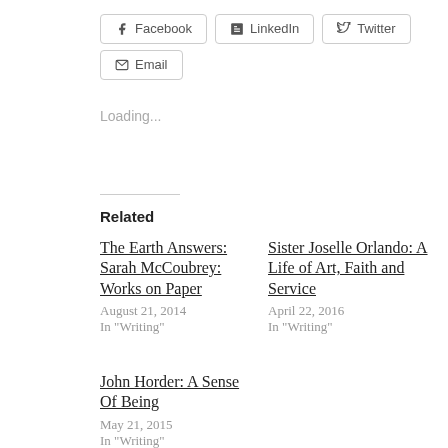[Figure (other): Social share buttons row: Facebook, LinkedIn, Twitter, and Email buttons with icons and borders]
Loading...
Related
The Earth Answers: Sarah McCoubrey: Works on Paper
August 21, 2014
In "Writing"
Sister Joselle Orlando: A Life of Art, Faith and Service
April 22, 2016
In "Writing"
John Horder: A Sense Of Being
May 21, 2015
In "Writing"